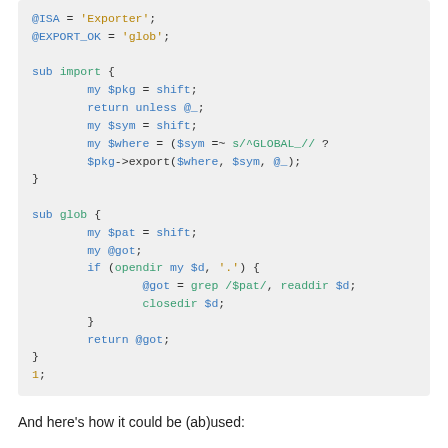[Figure (other): Perl code block showing @ISA, @EXPORT_OK, sub import, and sub glob with syntax highlighting]
And here's how it could be (ab)used: